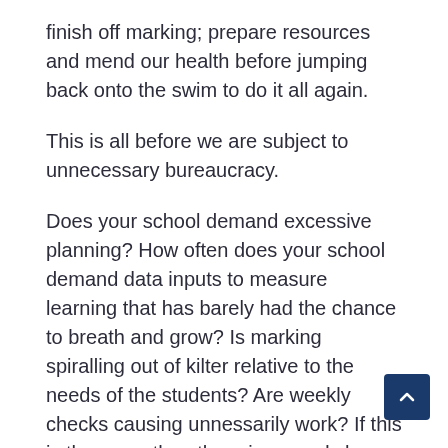finish off marking; prepare resources and mend our health before jumping back onto the swim to do it all again.
This is all before we are subject to unnecessary bureaucracy.
Does your school demand excessive planning? How often does your school demand data inputs to measure learning that has barely had the chance to breath and grow? Is marking spiralling out of kilter relative to the needs of the students? Are weekly checks causing unnessarily work? If this is the case, then there is a good chance that your school is shrinking in fear under the unforgiving glare of OFSTED.